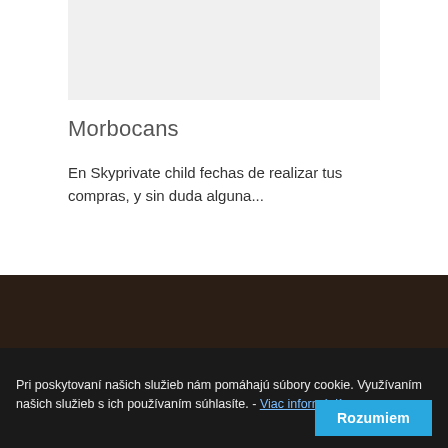[Figure (other): Gray placeholder image at top of content card]
Morbocans
En Skyprivate child fechas de realizar tus compras, y sin duda alguna...
Domovská stránka
Pri poskytovaní našich služieb nám pomáhajú súbory cookie. Využívaním našich služieb s ich používaním súhlasíte. - Viac informácií
Rozumiem